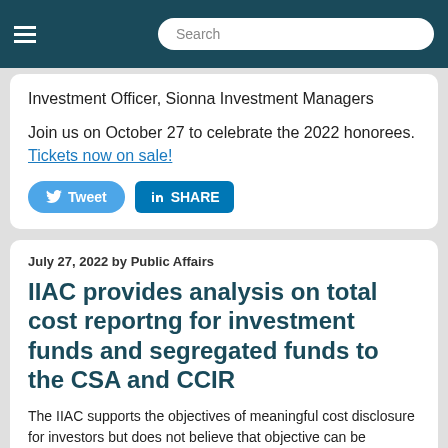Search
Investment Officer, Sionna Investment Managers
Join us on October 27 to celebrate the 2022 honorees. Tickets now on sale!
[Figure (other): Tweet and LinkedIn Share buttons]
July 27, 2022 by Public Affairs
IIAC provides analysis on total cost reportng for investment funds and segregated funds to the CSA and CCIR
The IIAC supports the objectives of meaningful cost disclosure for investors but does not believe that objective can be achieved through these initial proposals which may cause investor harm. The IIAC's comments represent views from investment fund managers